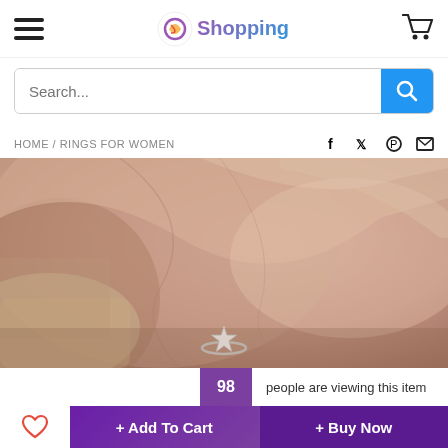GO Shopping — navigation header with hamburger menu and shopping cart
Search...
HOME / RINGS FOR WOMEN
[Figure (photo): Close-up product photo of a silver star-shaped ring resting on a hand, with beige/nude fabric draped in the background]
98 people are viewing this item
+ Add To Cart  + Buy Now